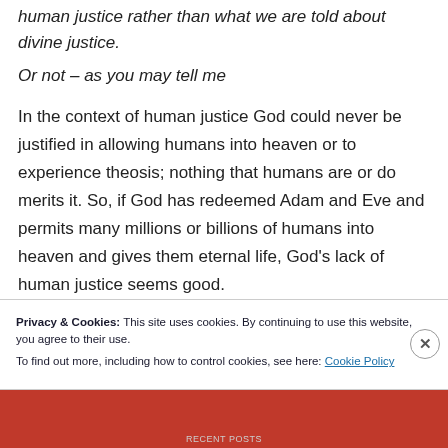human justice rather than what we are told about divine justice.
Or not – as you may tell me
In the context of human justice God could never be justified in allowing humans into heaven or to experience theosis; nothing that humans are or do merits it. So, if God has redeemed Adam and Eve and permits many millions or billions of humans into heaven and gives them eternal life, God's lack of human justice seems good.
Privacy & Cookies: This site uses cookies. By continuing to use this website, you agree to their use.
To find out more, including how to control cookies, see here: Cookie Policy
Close and accept